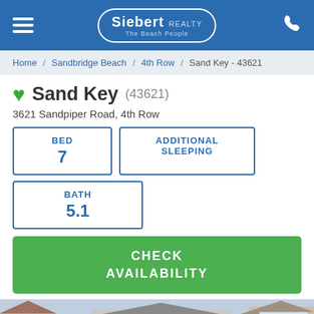Siebert REALTY - The Beach People
Home / Sandbridge Beach / 4th Row / Sand Key - 43621
Sand Key (43621)
3621 Sandpiper Road, 4th Row
| BED | ADDITIONAL SLEEPING |
| --- | --- |
| 7 |  |
| BATH |
| --- |
| 5.1 |
CHECK AVAILABILITY
[Figure (photo): Exterior photo of Sand Key beach house and neighboring properties at Sandbridge Beach, showing multi-story beach homes with decks and a white picket fence.]